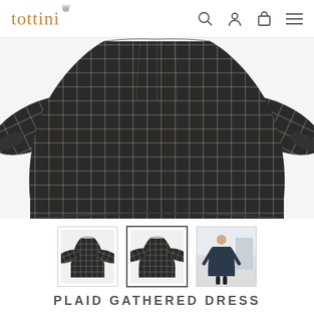tottini
[Figure (photo): Close-up of a dark plaid gathered dress with long sleeves and gathered skirt shown from waist to hem on white background]
[Figure (photo): Three thumbnail images of the plaid gathered dress: front flat lay, front flat lay (selected), and a girl wearing the dress]
PLAID GATHERED DRESS